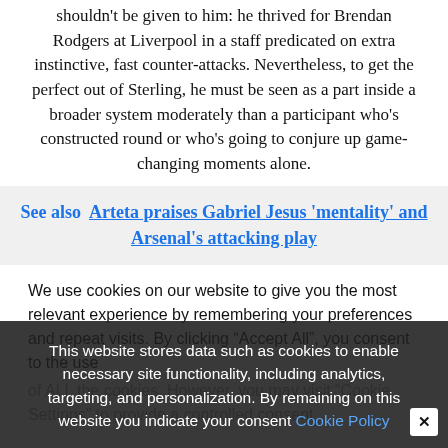shouldn't be given to him: he thrived for Brendan Rodgers at Liverpool in a staff predicated on extra instinctive, fast counter-attacks. Nevertheless, to get the perfect out of Sterling, he must be seen as a part inside a broader system moderately than a participant who's constructed round or who's going to conjure up game-changing moments alone.
See also  Arteta praises Gabriel Jesus 'mentality' and Arsenal's attacking play
We use cookies on our website to give you the most relevant experience by remembering your preferences and repeat visits. By clicking "Accept All", you consent to the use of ALL the cookies. However, you may visit "Cookie Settings" to provide a controlled consent
This website stores data such as cookies to enable necessary site functionality, including analytics, targeting, and personalization. By remaining on this website you indicate your consent Cookie Policy